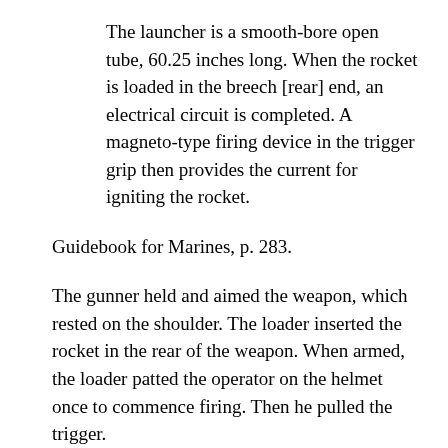The launcher is a smooth-bore open tube, 60.25 inches long. When the rocket is loaded in the breech [rear] end, an electrical circuit is completed. A magneto-type firing device in the trigger grip then provides the current for igniting the rocket.
Guidebook for Marines, p. 283.
The gunner held and aimed the weapon, which rested on the shoulder. The loader inserted the rocket in the rear of the weapon. When armed, the loader patted the operator on the helmet once to commence firing. Then he pulled the trigger.
We learned to fire mortars. There were two kinds, the 60-mm. and the 81-mm. An infantry company carried three 60-mm. mortars in its weapons platoon. The